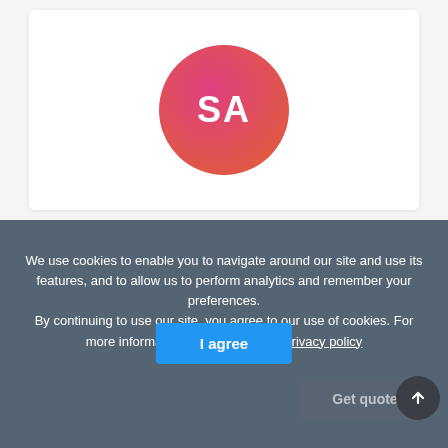[Figure (illustration): A circular avatar with gradient background (pink to orange) displaying the initials 'SA' in white bold text, centered in a white card on a light grey background.]
We use cookies to enable you to navigate around our site and use its features, and to allow us to perform analytics and remember your preferences. By continuing to use our site, you agree to our use of cookies. For more information, please read our privacy policy
I agree